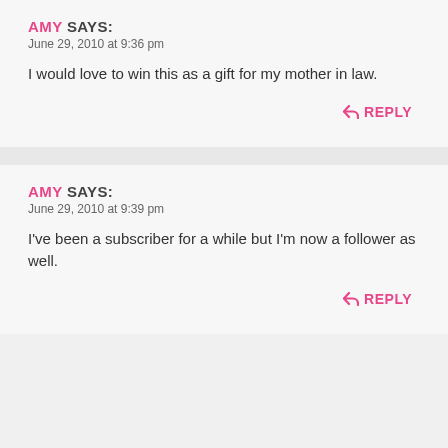AMY SAYS:
June 29, 2010 at 9:36 pm
I would love to win this as a gift for my mother in law.
REPLY
AMY SAYS:
June 29, 2010 at 9:39 pm
I've been a subscriber for a while but I'm now a follower as well.
REPLY